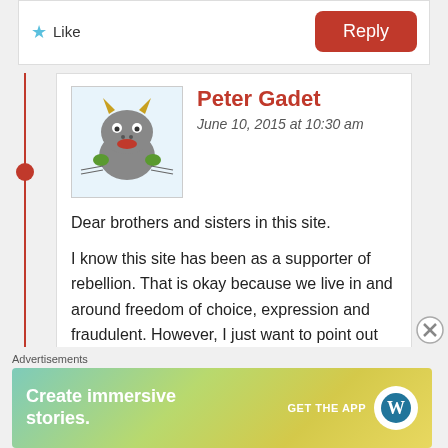Like
Reply
Peter Gadet
June 10, 2015 at 10:30 am
Dear brothers and sisters in this site.

I know this site has been as a supporter of rebellion. That is okay because we live in and around freedom of choice, expression and fraudulent. However, I just want to point out one
Advertisements
[Figure (screenshot): WordPress advertisement banner: 'Create immersive stories.' with GET THE APP button and WordPress logo]